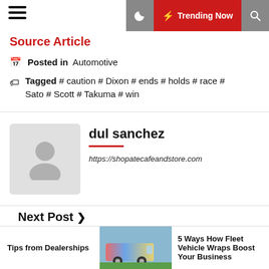Trending Now
Source Article
Posted in Automotive
Tagged # caution # Dixon # ends # holds # race # Sato # Scott # Takuma # win
dul sanchez
https://shopatecafeandstore.com
Next Post
Bycycle
Tips from Dealerships
[Figure (photo): Fleet vehicle with colorful wraps]
5 Ways How Fleet Vehicle Wraps Boost Your Business